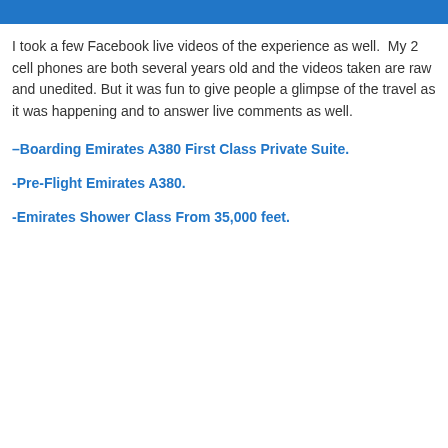BarisBolis
I took a few Facebook live videos of the experience as well.  My 2 cell phones are both several years old and the videos taken are raw and unedited. But it was fun to give people a glimpse of the travel as it was happening and to answer live comments as well.
–Boarding Emirates A380 First Class Private Suite.
-Pre-Flight Emirates A380.
-Emirates Shower Class From 35,000 feet.